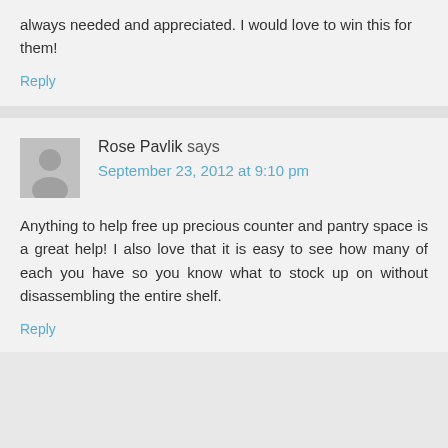always needed and appreciated. I would love to win this for them!
Reply
Rose Pavlik says
September 23, 2012 at 9:10 pm
Anything to help free up precious counter and pantry space is a great help! I also love that it is easy to see how many of each you have so you know what to stock up on without disassembling the entire shelf.
Reply